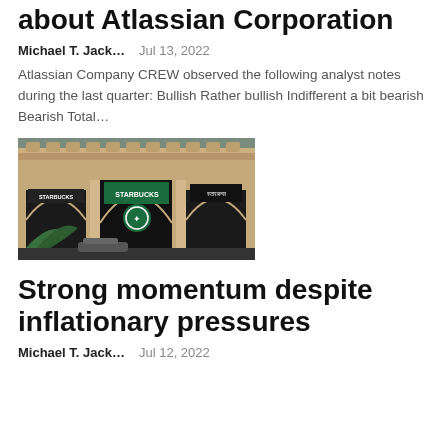about Atlassian Corporation
Michael T. Jack…    Jul 13, 2022
Atlassian Company CREW observed the following analyst notes during the last quarter: Bullish Rather bullish Indifferent a bit bearish Bearish Total…
[Figure (photo): Exterior of a Starbucks location in an ornate historic building with arched entrances and a large Starbucks logo sign. Hindi text visible on a sign. Palm fronds in foreground.]
Strong momentum despite inflationary pressures
Michael T. Jack…    Jul 12, 2022